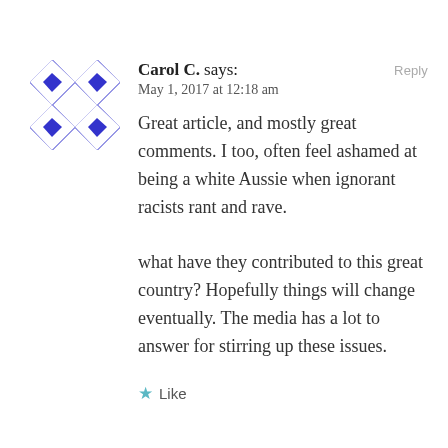[Figure (illustration): Blue geometric quilt-pattern avatar icon with diamond and triangle shapes on white background]
Carol C. says:
Reply
May 1, 2017 at 12:18 am
Great article, and mostly great comments. I too, often feel ashamed at being a white Aussie when ignorant racists rant and rave.

what have they contributed to this great country? Hopefully things will change eventually. The media has a lot to answer for stirring up these issues.
★ Like